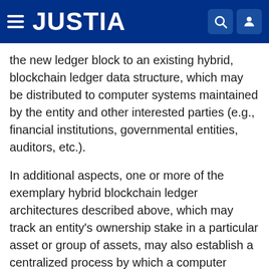JUSTIA
the new ledger block to an existing hybrid, blockchain ledger data structure, which may be distributed to computer systems maintained by the entity and other interested parties (e.g., financial institutions, governmental entities, auditors, etc.).
In additional aspects, one or more of the exemplary hybrid blockchain ledger architectures described above, which may track an entity's ownership stake in a particular asset or group of assets, may also establish a centralized process by which a computer system maintained by the entity and/or the other interested parties may track and reconcile an inventory of assets. By way of example, the entity may operate one or more connected devices within a computing environment, and computer systems maintained by the entity may establish and distribute to the connected devices